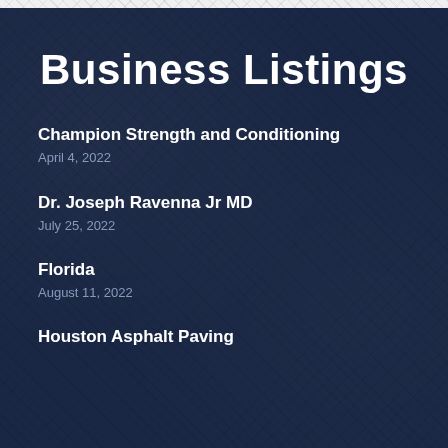Business Listings
Champion Strength and Conditioning
April 4, 2022
Dr. Joseph Ravenna Jr MD
July 25, 2022
Florida
August 11, 2022
Houston Asphalt Paving